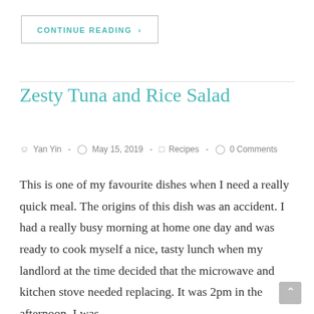CONTINUE READING  >
Zesty Tuna and Rice Salad
Yan Yin  -  May 15, 2019  -  Recipes  -  0 Comments
This is one of my favourite dishes when I need a really quick meal. The origins of this dish was an accident. I had a really busy morning at home one day and was ready to cook myself a nice, tasty lunch when my landlord at the time decided that the microwave and kitchen stove needed replacing. It was 2pm in the afternoon. I was...